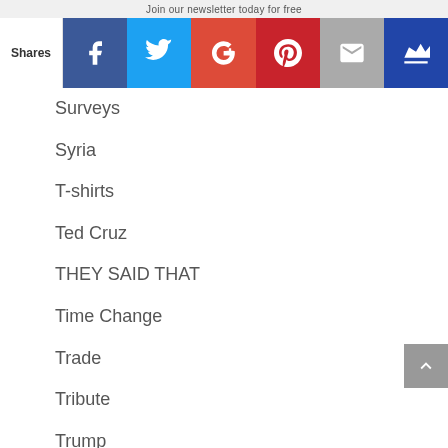Join our newsletter today for free
[Figure (infographic): Social sharing bar with Facebook, Twitter, Google+, Pinterest, Email, and King buttons]
Surveys
Syria
T-shirts
Ted Cruz
THEY SAID THAT
Time Change
Trade
Tribute
Trump
Tshirts
U.C.
Uncategorized
Unemployment